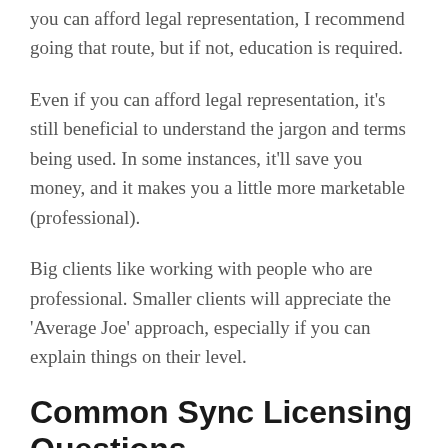you can afford legal representation, I recommend going that route, but if not, education is required.
Even if you can afford legal representation, it's still beneficial to understand the jargon and terms being used. In some instances, it'll save you money, and it makes you a little more marketable (professional).
Big clients like working with people who are professional. Smaller clients will appreciate the 'Average Joe' approach, especially if you can explain things on their level.
Common Sync Licensing Questions
Here are some common questions I'm asked during